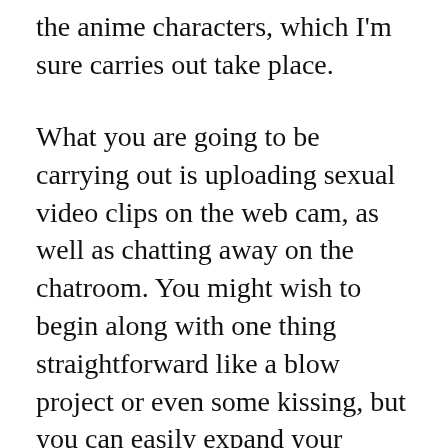the anime characters, which I'm sure carries out take place.
What you are going to be carrying out is uploading sexual video clips on the web cam, as well as chatting away on the chatroom. You might wish to begin along with one thing straightforward like a blow project or even some kissing, but you can easily expand your teasing as you accompany. Thus, you can know some fundamentals coming from the very start of milf pornography for pairs, like the craft of temptation, exactly how to profane to your partner, just how to make him orgasm, as